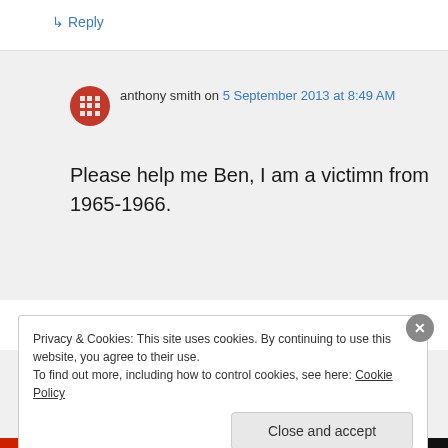↳ Reply
anthony smith on 5 September 2013 at 8:49 AM
Please help me Ben, I am a victimn from 1965-1966.
Privacy & Cookies: This site uses cookies. By continuing to use this website, you agree to their use.
To find out more, including how to control cookies, see here: Cookie Policy
Close and accept